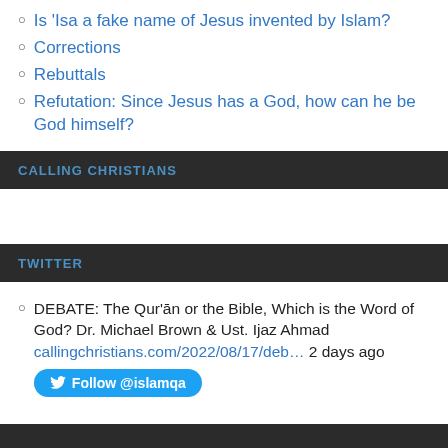Is 'Isa a fake name of Jesus invented by Islam?
Corrections
Rebuttals
Refutation: Since Jesus has a God, how can he be God himself?
CALLING CHRISTIANS
TWITTER
DEBATE: The Qur'ān or the Bible, Which is the Word of God? Dr. Michael Brown & Ust. Ijaz Ahmad callingchristians.com/2022/08/17/deb… 2 days ago
Follow @islamqa